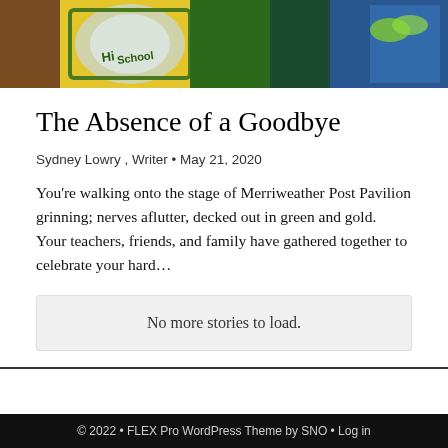[Figure (photo): Banner photo showing a high school sign with green and gold colors, people in graduation/spirit attire against an outdoor background]
The Absence of a Goodbye
Sydney Lowry , Writer • May 21, 2020
You're walking onto the stage of Merriweather Post Pavilion grinning; nerves aflutter, decked out in green and gold.  Your teachers, friends, and family have gathered together to celebrate your hard…
No more stories to load.
© 2022 • FLEX Pro WordPress Theme by SNO • Log in